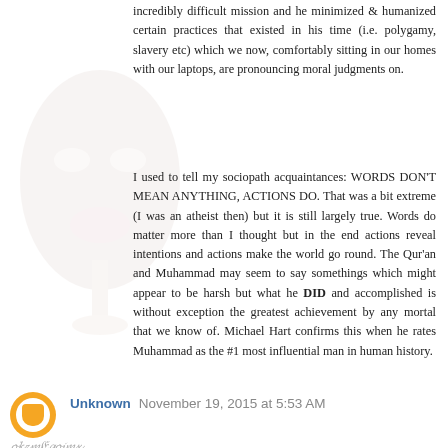incredibly difficult mission and he minimized & humanized certain practices that existed in his time (i.e. polygamy, slavery etc) which we now, comfortably sitting in our homes with our laptops, are pronouncing moral judgments on.
I used to tell my sociopath acquaintances: WORDS DON'T MEAN ANYTHING, ACTIONS DO. That was a bit extreme (I was an atheist then) but it is still largely true. Words do matter more than I thought but in the end actions reveal intentions and actions make the world go round. The Qur'an and Muhammad may seem to say somethings which might appear to be harsh but what he DID and accomplished is without exception the greatest achievement by any mortal that we know of. Michael Hart confirms this when he rates Muhammad as the #1 most influential man in human history.
Unknown November 19, 2015 at 5:53 AM